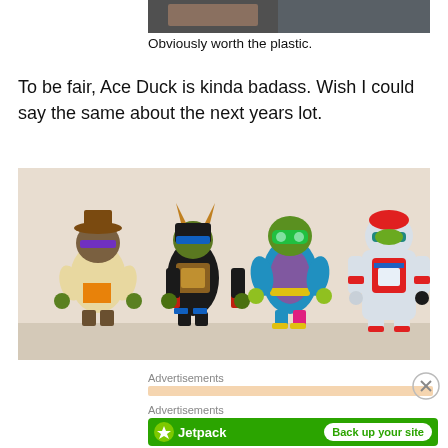[Figure (photo): Partial view of a photo at the top of the page showing what appears to be a packaged toy or product on a shelf]
Obviously worth the plastic.
To be fair, Ace Duck is kinda badass. Wish I could say the same about the next years lot.
[Figure (photo): Photo of four Teenage Mutant Ninja Turtles action figures standing in a row on a shelf: a turtle in a detective/trenchcoat outfit, a samurai-armored turtle, a brightly colored scuba/diver turtle, and a turtle in a white astronaut/robot suit]
Advertisements
Advertisements
[Figure (screenshot): Jetpack advertisement banner with green background showing Jetpack logo and 'Back up your site' button]